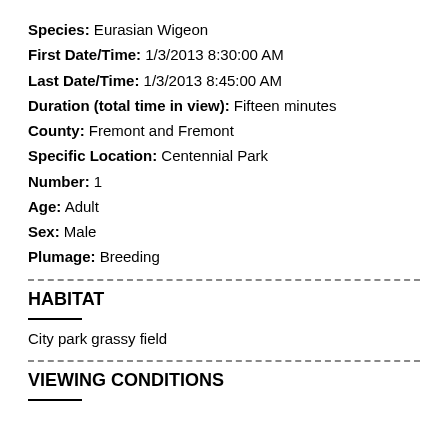Species: Eurasian Wigeon
First Date/Time: 1/3/2013 8:30:00 AM
Last Date/Time: 1/3/2013 8:45:00 AM
Duration (total time in view): Fifteen minutes
County: Fremont and Fremont
Specific Location: Centennial Park
Number: 1
Age: Adult
Sex: Male
Plumage: Breeding
HABITAT
City park grassy field
VIEWING CONDITIONS